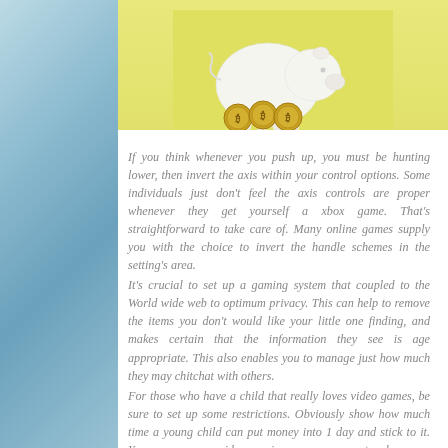[Figure (photo): Photo of a white piggy bank with gold bitcoin/coin tokens in front of it, on a yellow/lime background]
If you think whenever you push up, you must be hunting lower, then invert the axis within your control options. Some individuals just don't feel the axis controls are proper whenever they get yourself a xbox game. That's straightforward to take care of. Many online games supply you with the choice to invert the handle schemes in the setting's area.
It's crucial to set up a gaming system that coupled to the World wide web to optimum privacy. This can help to remove the items you don't would like your little one finding, and makes certain that the information they see is age appropriate. This also enables you to manage just how much they may chitchat with others.
For those who have a child that really loves video games, be sure to set up some restrictions. Obviously show how much time a young child can put money into 1 day and stick to it. You can even use video gaming as a compensate when your child finishes chores at home. As an example, you could potentially